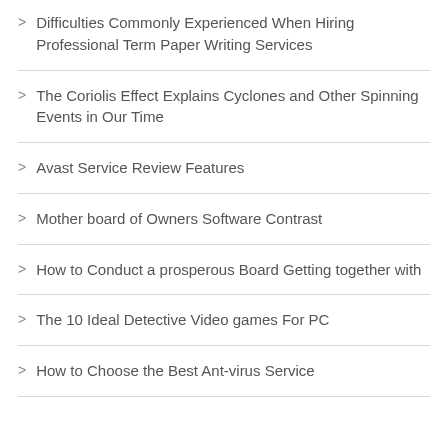Difficulties Commonly Experienced When Hiring Professional Term Paper Writing Services
The Coriolis Effect Explains Cyclones and Other Spinning Events in Our Time
Avast Service Review Features
Mother board of Owners Software Contrast
How to Conduct a prosperous Board Getting together with
The 10 Ideal Detective Video games For PC
How to Choose the Best Ant-virus Service